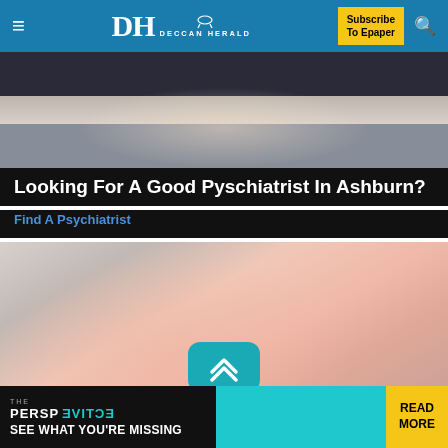DH DECCAN HERALD | Subscribe To Epaper
[Figure (photo): Person in dark top sitting on bed with white bedding, back view]
Looking For A Good Pyschiatrist In Ashburn?
Find A Psychiatrist
[Figure (photo): Woman in pink long-sleeve top with hand on chest, gray background. Scroll-up teal button with double chevron overlay.]
[Figure (infographic): Bottom banner: THE PERSPECTIVE - SEE WHAT YOU'RE MISSING | READ MORE]